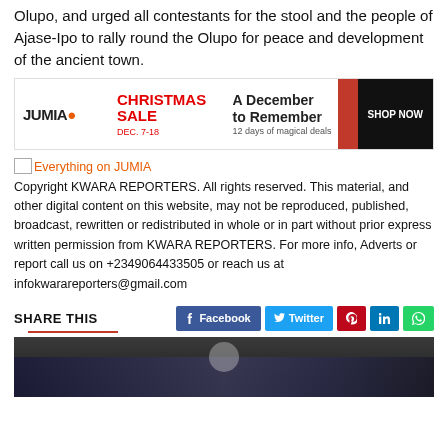Olupo, and urged all contestants for the stool and the people of Ajase-Ipo to rally round the Olupo for peace and development of the ancient town.
[Figure (screenshot): Jumia Christmas Sale advertisement banner: CHRISTMAS SALE DEC. 7-18, A December to Remember, 12 days of magical deals, SHOP NOW button]
Everything on JUMIA Copyright KWARA REPORTERS. All rights reserved. This material, and other digital content on this website, may not be reproduced, published, broadcast, rewritten or redistributed in whole or in part without prior express written permission from KWARA REPORTERS. For more info, Adverts or report call us on +2349064433505 or reach us at infokwarareporters@gmail.com
SHARE THIS
[Figure (photo): Group photo of people at an event, dark background]